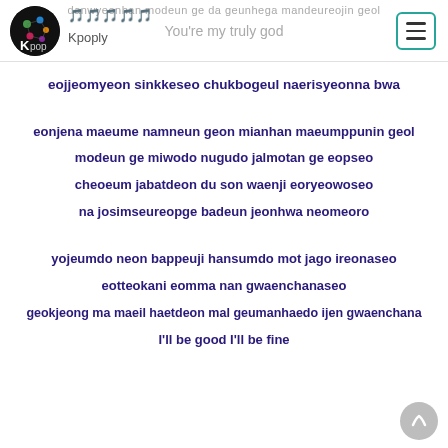Kpoply | You're my truly god
eojjeomyeon sinkkeseo chukbogeul naerisyeonna bwa
eonjena maeume namneun geon mianhan maeumppunin geol
modeun ge miwodo nugudo jalmotan ge eopseo
cheoeum jabatdeon du son waenji eoryeowoseo
na josimseureopge badeun jeonhwa neomeoro
yojeumdo neon bappeuji hansumdo mot jago ireonaseo
eotteokani eomma nan gwaenchanaseo
geokjeong ma maeil haetdeon mal geumanhaedo ijen gwaenchana
I'll be good I'll be fine